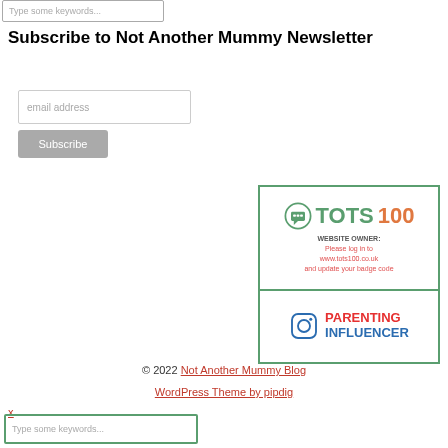Type some keywords...
Subscribe to Not Another Mummy Newsletter
email address
Subscribe
[Figure (logo): TOTS100 badge with parenting influencer logo. Top half shows TOTS100 logo in green and orange with chat bubble icon and text: WEBSITE OWNER: Please log in to www.tots100.co.uk and update your badge code. Bottom half shows Instagram icon with PARENTING INFLUENCER text in red and blue.]
© 2022 Not Another Mummy Blog
WordPress Theme by pipdig
x
Type some keywords...